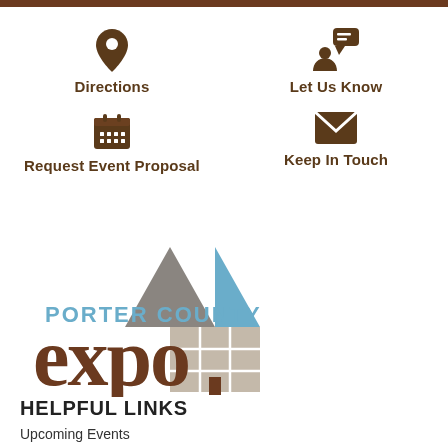[Figure (infographic): Icon with location pin for Directions link]
Directions
[Figure (infographic): Icon with person and speech bubble for Let Us Know link]
Let Us Know
[Figure (infographic): Icon with calendar for Request Event Proposal link]
Request Event Proposal
[Figure (infographic): Icon with envelope for Keep In Touch link]
Keep In Touch
[Figure (logo): Porter County Expo logo with geometric building/roof icon in grey, blue and taupe colors and large brown expo text]
HELPFUL LINKS
Upcoming Events